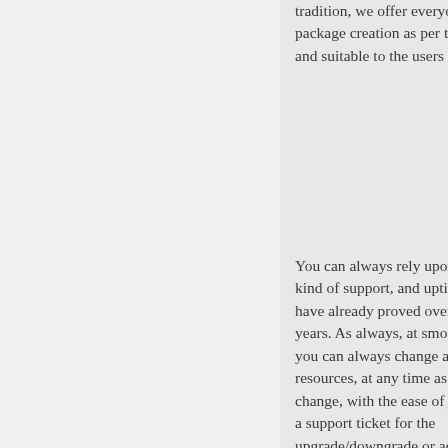tradition, we offer everyone custom package creation as per the users needs and suitable to the users budget.
You can always rely upon us for any kind of support, and uptime, which we have already proved over the past 15+ years. As always, at smokyhosts.com you can always change any of the resources, at any time as your needs change, with the ease of just sending us a support ticket for the upgrade/downgrade or add-on that you need! So now is your turn to go ahead and customize